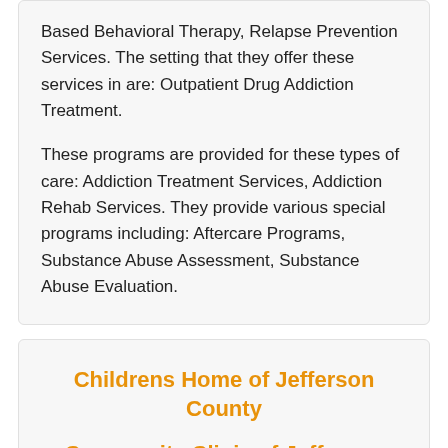Based Behavioral Therapy, Relapse Prevention Services. The setting that they offer these services in are: Outpatient Drug Addiction Treatment.
These programs are provided for these types of care: Addiction Treatment Services, Addiction Rehab Services. They provide various special programs including: Aftercare Programs, Substance Abuse Assessment, Substance Abuse Evaluation.
Childrens Home of Jefferson County
Community Clinic of Jefferson County